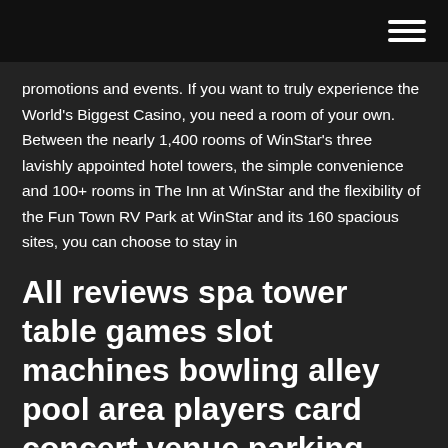promotions and events. If you want to truly experience the World's Biggest Casino, you need a room of your own. Between the nearly 1,400 rooms of WinStar's three lavishly appointed hotel towers, the simple convenience and 100+ rooms in The Inn at WinStar and the flexibility of the Fun Town RV Park at WinStar and its 160 spacious sites, you can choose to stay in
All reviews spa tower table games slot machines bowling alley pool area players card concert venue parking garage non smoking steak casino buffet